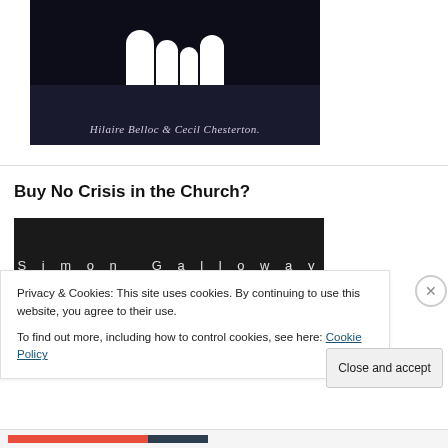[Figure (illustration): Dark book cover with white silhouettes of figures and italic text reading 'Hilaire Belloc & Cecil Chesterton.']
Buy No Crisis in the Church?
[Figure (illustration): Dark book cover with spaced white text reading 'Simon Galloway']
Privacy & Cookies: This site uses cookies. By continuing to use this website, you agree to their use.
To find out more, including how to control cookies, see here: Cookie Policy
Close and accept